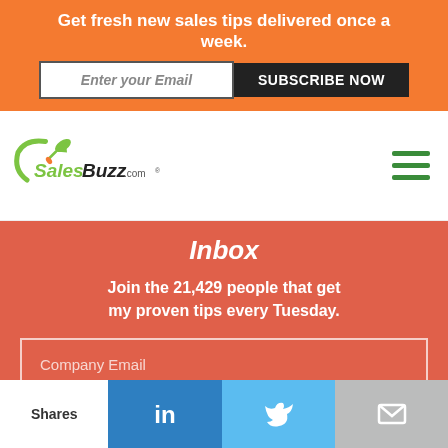Get fresh new sales tips delivered once a week.
Enter your Email
SUBSCRIBE NOW
[Figure (logo): SalesBuzz.com logo with green rocket and swoosh graphic]
Inbox
Join the 21,429 people that get my proven tips every Tuesday.
Company Email
Shares